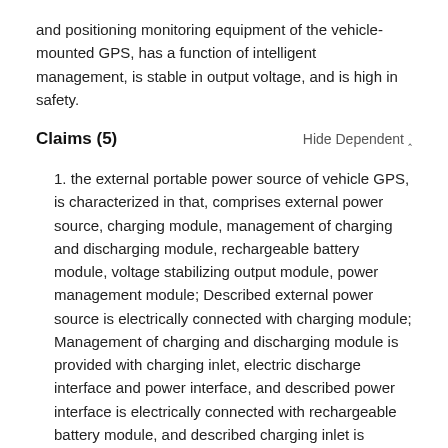and positioning monitoring equipment of the vehicle-mounted GPS, has a function of intelligent management, is stable in output voltage, and is high in safety.
Claims (5)
1. the external portable power source of vehicle GPS, is characterized in that, comprises external power source, charging module, management of charging and discharging module, rechargeable battery module, voltage stabilizing output module, power management module; Described external power source is electrically connected with charging module; Management of charging and discharging module is provided with charging inlet, electric discharge interface and power interface, and described power interface is electrically connected with rechargeable battery module, and described charging inlet is electrically connected with charging module, and described electric discharge interface is electrically connected with voltage stabilizing output module; Described power management module is provided with the first input interface, the second input interface and output interface, described the first input interface is electrically connected with external power source, described